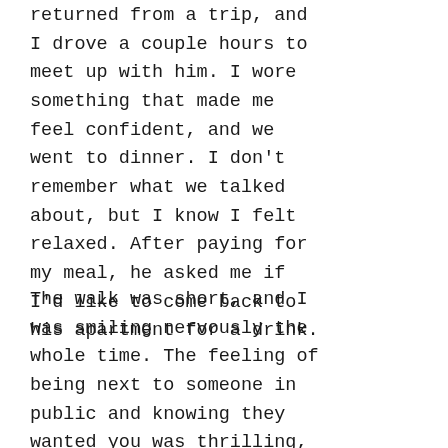returned from a trip, and I drove a couple hours to meet up with him. I wore something that made me feel confident, and we went to dinner. I don't remember what we talked about, but I know I felt relaxed. After paying for my meal, he asked me if I'd like to come back to his apartment for a drink.
The walk was short, and I was smiling nervously the whole time. The feeling of being next to someone in public and knowing they wanted you was thrilling,